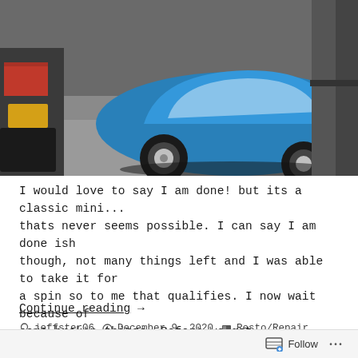[Figure (photo): Blue classic Mini car in a garage/workshop, viewed from front-left angle, with tools and equipment visible in the background]
I would love to say I am done! but its a classic mini... thats never seems possible. I can say I am done ish though, not many things left and I was able to take it for a spin so to me that qualifies. I now wait because of some broken things. Before we get
Continue reading →
jeffster06   December 9, 2020   Resto/Repair
Leave a comment
Follow   ...